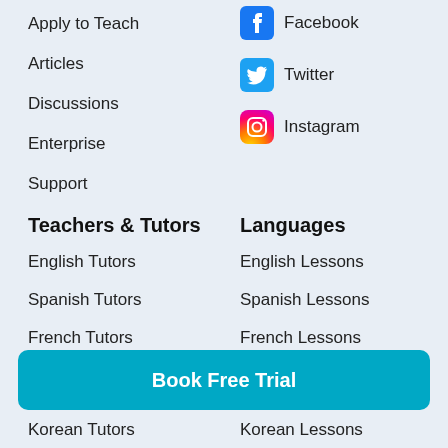Apply to Teach
Articles
Discussions
Enterprise
Support
Facebook
Twitter
Instagram
Teachers & Tutors
Languages
English Tutors
Spanish Tutors
French Tutors
German Tutors
English Lessons
Spanish Lessons
French Lessons
German Lessons
Book Free Trial
Korean Tutors
Korean Lessons